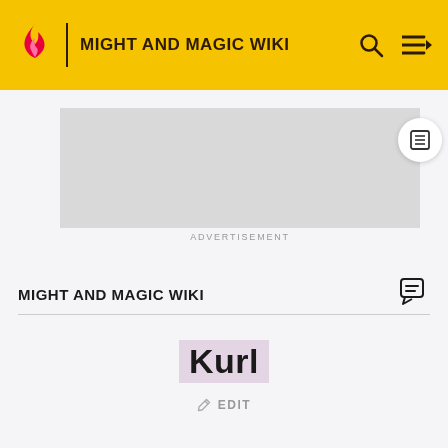MIGHT AND MAGIC WIKI
[Figure (screenshot): Advertisement placeholder — grey rectangle]
ADVERTISEMENT
MIGHT AND MAGIC WIKI
Kurl
EDIT